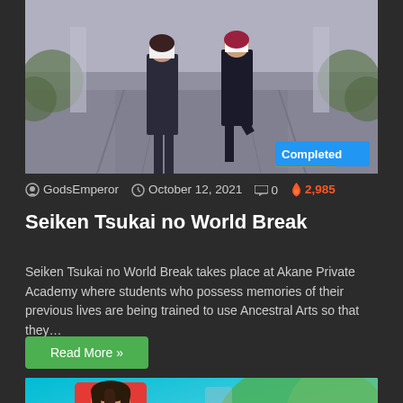[Figure (illustration): Anime-style illustration of two female characters in school uniforms with a building pathway background. A 'Completed' badge is shown in the bottom-right corner of the image.]
GodsEmperor  October 12, 2021  0  2,985
Seiken Tsukai no World Break
Seiken Tsukai no World Break takes place at Akane Private Academy where students who possess memories of their previous lives are being trained to use Ancestral Arts so that they…
Read More »
[Figure (illustration): Anime-style illustration of a female character with long dark hair in a red outfit, surrounded by teal/aqua and green backgrounds suggesting an outdoor nature scene.]